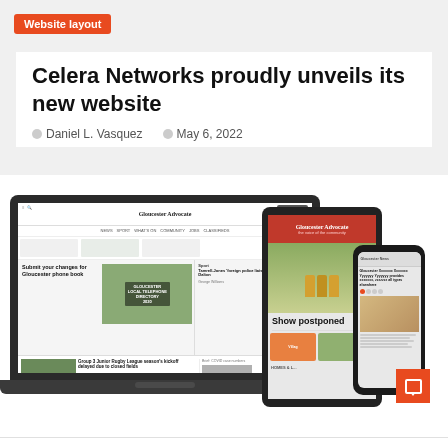Website layout
Celera Networks proudly unveils its new website
Daniel L. Vasquez   May 6, 2022
[Figure (screenshot): Screenshot mockup of the Gloucester Advocate website displayed on a laptop, tablet, and mobile phone. The laptop shows the newspaper's website with articles including 'Submit your changes for Gloucester phone book'. The tablet shows the Gloucester Advocate front page with 'Show postponed' headline. The phone shows a mobile view of the site.]